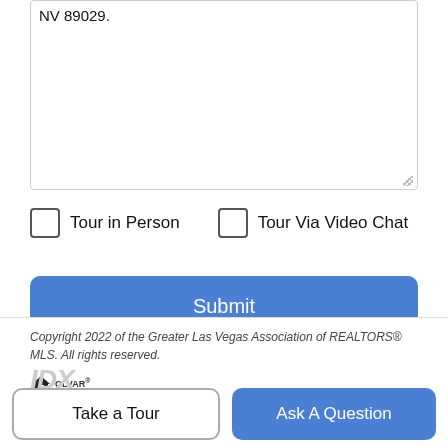NV 89029.
Tour in Person
Tour Via Video Chat
Submit
Disclaimer: By entering your information and submitting this form, you agree to our Terms of Use and Privacy Policy and that you may be contacted by phone, text message and email about your inquiry.
Copyright 2022 of the Greater Las Vegas Association of REALTORS® MLS. All rights reserved.
Take a Tour
Ask A Question